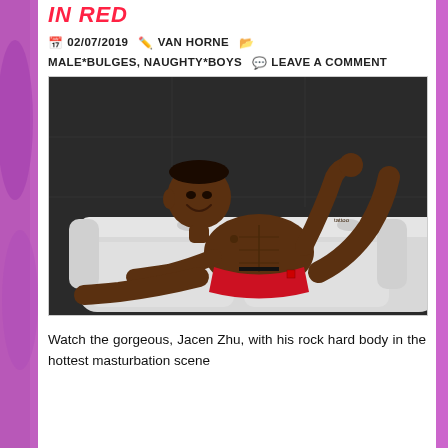IN RED
02/07/2019   VAN HORNE   MALE*BULGES, NAUGHTY*BOYS   LEAVE A COMMENT
[Figure (photo): A muscular man wearing red underwear reclines on a white tufted leather sofa, smiling, shirtless, with tattoos visible.]
Watch the gorgeous, Jacen Zhu, with his rock hard body in the hottest masturbation scene